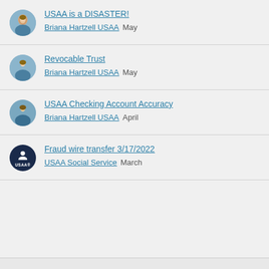USAA is a DISASTER! — Briana Hartzell USAA — May
Revocable Trust — Briana Hartzell USAA — May
USAA Checking Account Accuracy — Briana Hartzell USAA — April
Fraud wire transfer 3/17/2022 — USAA Social Service — March